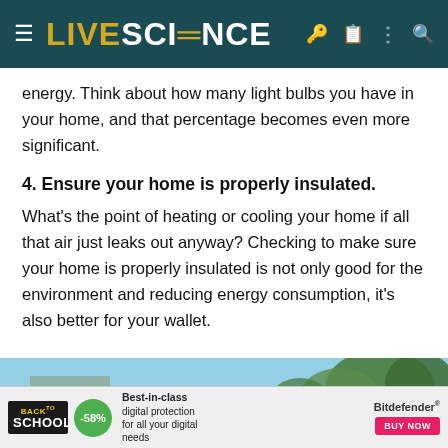LIVE SCIENCE
energy. Think about how many light bulbs you have in your home, and that percentage becomes even more significant.
4. Ensure your home is properly insulated.
What's the point of heating or cooling your home if all that air just leaks out anyway? Checking to make sure your home is properly insulated is not only good for the environment and reducing energy consumption, it's also better for your wallet.
[Figure (photo): Photo of a house exterior with trees and sky in the background]
[Figure (infographic): Advertisement banner: Back to School, -58% discount, Best-in-class digital protection for all your digital needs, Bitdefender, BUY NOW button]